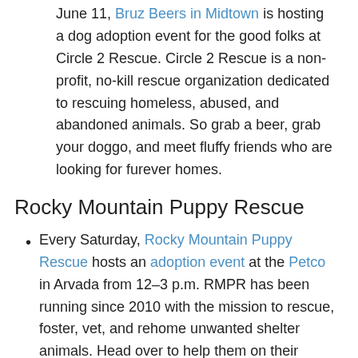June 11, Bruz Beers in Midtown is hosting a dog adoption event for the good folks at Circle 2 Rescue. Circle 2 Rescue is a non-profit, no-kill rescue organization dedicated to rescuing homeless, abused, and abandoned animals. So grab a beer, grab your doggo, and meet fluffy friends who are looking for furever homes.
Rocky Mountain Puppy Rescue
Every Saturday, Rocky Mountain Puppy Rescue hosts an adoption event at the Petco in Arvada from 12–3 p.m. RMPR has been running since 2010 with the mission to rescue, foster, vet, and rehome unwanted shelter animals. Head over to help them on their mission and find yourself a new furry bestie in the process!
Featured photo: Jiawei Chen